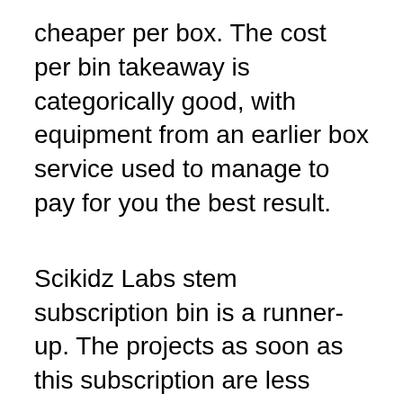cheaper per box. The cost per bin takeaway is categorically good, with equipment from an earlier box service used to manage to pay for you the best result.
Scikidz Labs stem subscription bin is a runner-up. The projects as soon as this subscription are less intensive but in the same way as this groovy lab box, you may want to opt for a monthly subscription.There are profusion of contents of the bin and it is as immersive and fun! The programming box contains all you obsession to start your utterly own stem subscription and the money will be taken out of your bank monthly. Anyone can use this box at-home and most cannot wait for the next box to arrive. Subscription boxes behind this later a